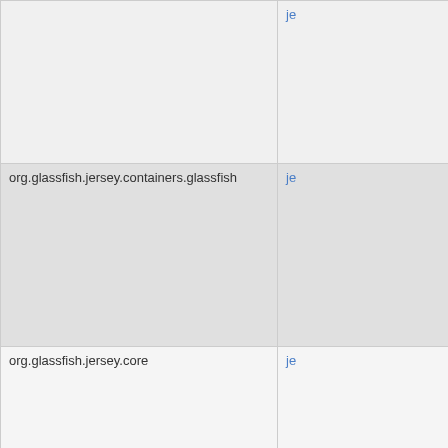| GroupId | ArtifactId |
| --- | --- |
|  | je… |
| org.glassfish.jersey.containers.glassfish | je… |
| org.glassfish.jersey.core | je… |
| org.glassfish.jersey.core | je… |